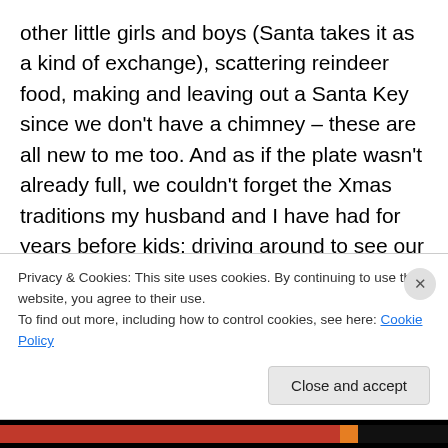other little girls and boys (Santa takes it as a kind of exchange), scattering reindeer food, making and leaving out a Santa Key since we don't have a chimney – these are all new to me too. And as if the plate wasn't already full, we couldn't forget the Xmas traditions my husband and I have had for years before kids: driving around to see our neighbor's light displays, leaving cookies for our mail carrier (Mr. Mailman gets a bag decorated with LOTS of stickers this year), and playing my collection of Christmas CDs on repeat. Phew. Fingers crossed I didn't forget anything.
Privacy & Cookies: This site uses cookies. By continuing to use this website, you agree to their use.
To find out more, including how to control cookies, see here: Cookie Policy